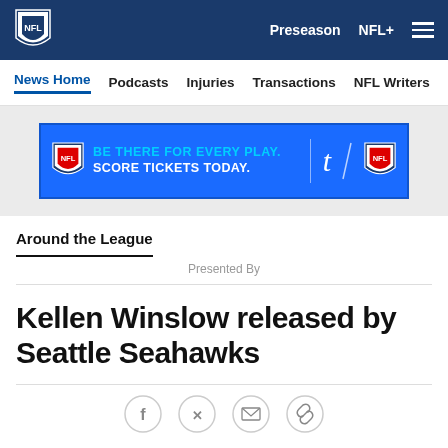NFL | Preseason | NFL+
News Home | Podcasts | Injuries | Transactions | NFL Writers | Se
[Figure (illustration): NFL advertisement banner: BE THERE FOR EVERY PLAY. SCORE TICKETS TODAY. with NFL shield logo and Ticketmaster logo]
Around the League
Presented By
Kellen Winslow released by Seattle Seahawks
[Figure (other): Social sharing icons: Facebook, Twitter, Email, Link]